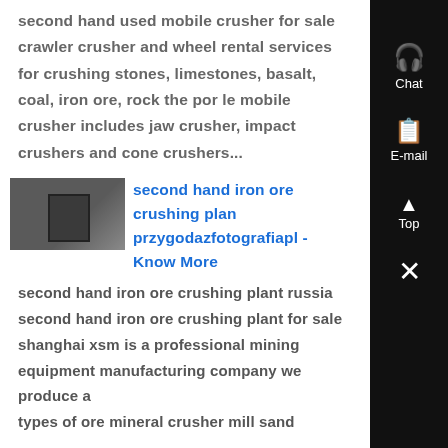second hand used mobile crusher for sale crawler crusher and wheel rental services for crushing stones, limestones, basalt, coal, iron ore, rock the por le mobile crusher includes jaw crusher, impact crushers and cone crushers...
[Figure (photo): Thumbnail photo of a crushing machine or industrial equipment, gray tones]
second hand iron ore crushing plant przygodazfotografiapl - Know More
second hand iron ore crushing plant russia second hand iron ore crushing plant for sale shanghai xsm is a professional mining equipment manufacturing company we produce all types of ore mineral crusher mill sand